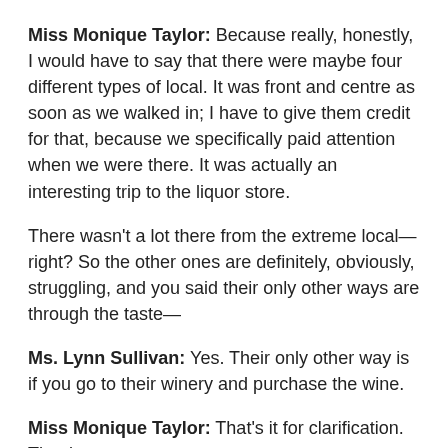Miss Monique Taylor: Because really, honestly, I would have to say that there were maybe four different types of local. It was front and centre as soon as we walked in; I have to give them credit for that, because we specifically paid attention when we were there. It was actually an interesting trip to the liquor store.
There wasn't a lot there from the extreme local—right? So the other ones are definitely, obviously, struggling, and you said their only other ways are through the taste—
Ms. Lynn Sullivan: Yes. Their only other way is if you go to their winery and purchase the wine.
Miss Monique Taylor: That's it for clarification. Thank you.
The Vice-Chair (Mr. Phil McNeely): Ms. Forster.
Ms. Cindy Forster: I just want to go back to the VQA piece, when you talked about that one bottle of wine. Is it the